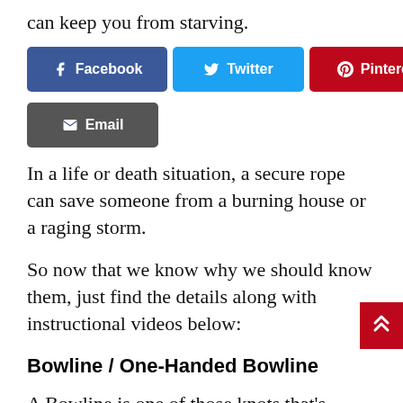can keep you from starving.
[Figure (other): Social share buttons: Facebook (blue), Twitter (cyan), Pinterest (red), Email (dark gray)]
In a life or death situation, a secure rope can save someone from a burning house or a raging storm.
So now that we know why we should know them, just find the details along with instructional videos below:
Bowline / One-Handed Bowline
A Bowline is one of those knots that's useful